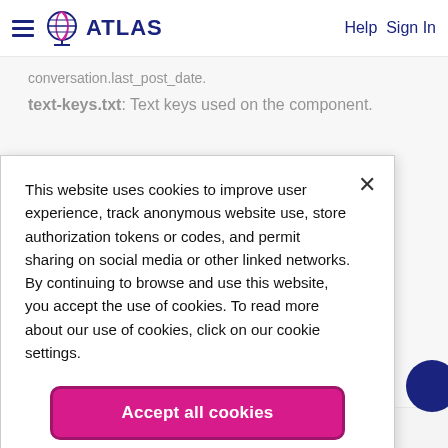ATLAS  Help Sign In
conversation.last_post_date.
text-keys.txt: Text keys used on the component.
This website uses cookies to improve user experience, track anonymous website use, store authorization tokens or codes, and permit sharing on social media or other linked networks. By continuing to browse and use this website, you accept the use of cookies. To read more about our use of cookies, click on our cookie settings.
Accept all cookies
Cookies settings